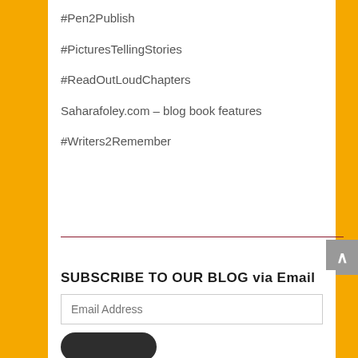#Pen2Publish
#PicturesTellingStories
#ReadOutLoudChapters
Saharafoley.com – blog book features
#Writers2Remember
SUBSCRIBE TO OUR BLOG via Email
Email Address